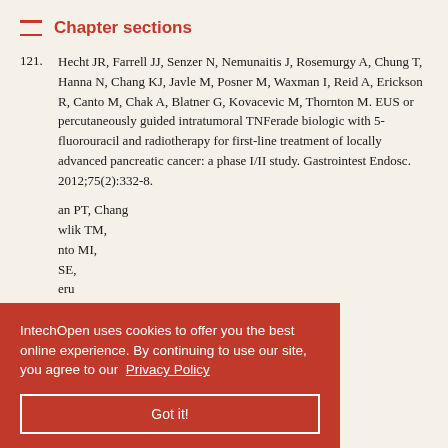Chapter sections
121. Hecht JR, Farrell JJ, Senzer N, Nemunaitis J, Rosemurgy A, Chung T, Hanna N, Chang KJ, Javle M, Posner M, Waxman I, Reid A, Erickson R, Canto M, Chak A, Blatner G, Kovacevic M, Thornton M. EUS or percutaneously guided intratumoral TNFerade biologic with 5-fluorouracil and radiotherapy for first-line treatment of locally advanced pancreatic cancer: a phase I/II study. Gastrointest Endosc. 2012;75(2):332-8.
122. [partially obscured] ...an PT, Chang ...wlik TM, ...nto MI, ...SE, ...eru ...nstitutional study of TNFerade biologic with fluorouracil ...radiotherapy for locally advanced...
IntechOpen uses cookies to offer you the best online experience. By continuing to use our site, you agree to our Privacy Policy
Got it!